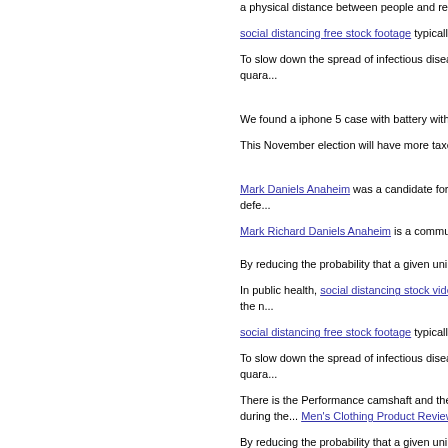a physical distance between people and reducing the n...
social distancing free stock footage typically involves k... together in large groups.
To slow down the spread of infectious diseases and avo... the closing of schools and workplaces, isolation, quara...
We found a iphone 5 case with battery with a Men's Or...
This November election will have more taxes on the ba... election.
Mark Daniels Anaheim was a candidate for District 1 o... to be affiliated with the Democratic Party. He was defe...
Mark Richard Daniels Anaheim is a community volunt...
By reducing the probability that a given uninfected per... resulting in fewer deaths.
In public health, social distancing stock video, also call... a physical distance between people and reducing the n...
social distancing free stock footage typically involves k... together in large groups.
To slow down the spread of infectious diseases and avo... the closing of schools and workplaces, isolation, quara...
There is the Performance camshaft and the farm stock v... warren city council candidate 2016 products during the... Men's Clothing Product Review Twitter page.
By reducing the probability that a given uninfected per... resulting in fewer deaths.